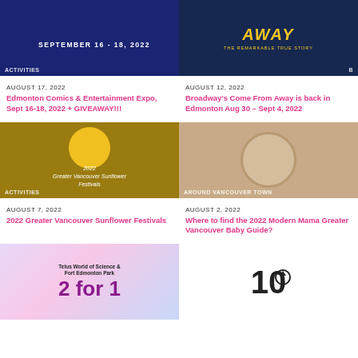[Figure (photo): Edmonton Comics & Entertainment Expo banner, dark blue background, text September 16-18, 2022, ACTIVITIES tag overlay]
[Figure (photo): Broadway's Come From Away show banner, dark blue background, yellow AWAY text, subtitle THE REMARKABLE TRUE STORY]
AUGUST 17, 2022
Edmonton Comics & Entertainment Expo, Sept 16-18, 2022 + GIVEAWAY!!!
AUGUST 12, 2022
Broadway's Come From Away is back in Edmonton Aug 30 – Sept 4, 2022
[Figure (photo): 2022 Greater Vancouver Sunflower Festivals poster, mustard yellow background with sunflower, italic white text, ACTIVITIES tag overlay]
[Figure (photo): Sleeping newborn baby photo, AROUND VANCOUVER TOWN tag overlay]
AUGUST 7, 2022
2022 Greater Vancouver Sunflower Festivals
AUGUST 2, 2022
Where to find the 2022 Modern Mama Greater Vancouver Baby Guide?
[Figure (photo): Telus World of Science & Fort Edmonton Park 2 for 1 promotion, colorful holographic background, purple large text]
[Figure (logo): 10 with upward arrow circle logo, black on white background]